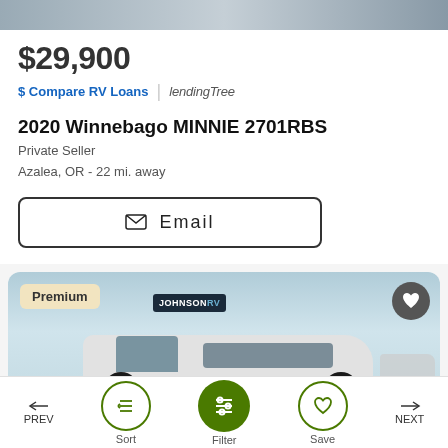[Figure (photo): RV trailer photo strip at top of listing card]
$29,900
$ Compare RV Loans | lendingtree
2020 Winnebago MINNIE 2701RBS
Private Seller
Azalea, OR - 22 mi. away
✉ Email
[Figure (photo): Premium listing photo of a white Class B van/motorhome at Johnson RV dealership. A 'Premium' badge is in the top-left corner and a heart/save button in the top-right.]
PREV | Sort | Filter | Save | NEXT